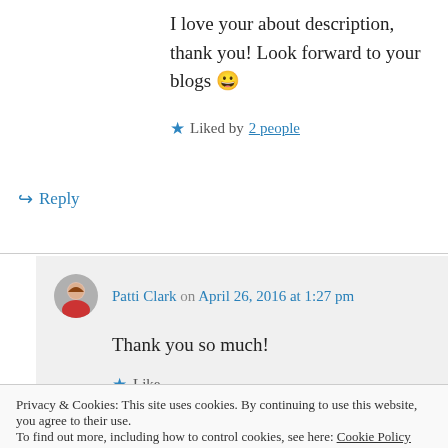I love your about description, thank you! Look forward to your blogs 😀
★ Liked by 2 people
↪ Reply
Patti Clark on April 26, 2016 at 1:27 pm
Thank you so much!
★ Like
Privacy & Cookies: This site uses cookies. By continuing to use this website, you agree to their use. To find out more, including how to control cookies, see here: Cookie Policy
Close and accept
following my blog! I'm grateful for the opportunity